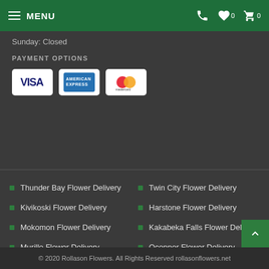MENU
Sunday: Closed
PAYMENT OPTIONS
[Figure (other): Payment card logos: VISA, American Express, Mastercard]
Thunder Bay Flower Delivery
Twin City Flower Delivery
Kivikoski Flower Delivery
Harstone Flower Delivery
Mokomon Flower Delivery
Kakabeka Falls Flower Delivery
Murillo Flower Delivery
Oconnor Flower Delivery
Savanne Flower Delivery
Conmee Flower Delivery
Hymers Flower Delivery
Vickers Heights Flower Delivery
© 2020 Rollason Flowers. All Rights Reserved rollasonflowers.net